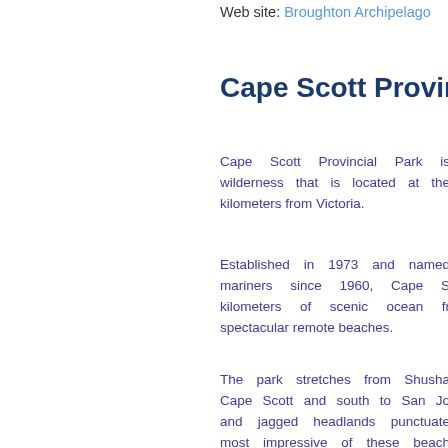Web site: Broughton Archipelago
Cape Scott Provincia…
Cape Scott Provincial Park is wilderness that is located at the kilometers from Victoria.
Established in 1973 and named mariners since 1960, Cape S kilometers of scenic ocean fr spectacular remote beaches.
The park stretches from Shusha Cape Scott and south to San Jo and jagged headlands punctuate most impressive of these beach meters long and 210 meters wid popular camping destinations. C Bay, Guise Bay, Experiment Bigh
Visitors can choose between a explore the sandy beaches, raint wilderness park.